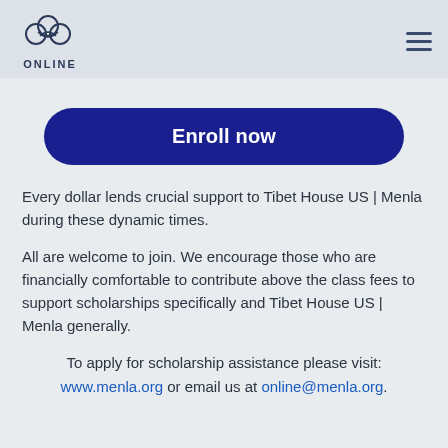ONLINE
[Figure (logo): Tibet House US | Menla Online logo with cloud/knot symbol above the word ONLINE]
Enroll now
Every dollar lends crucial support to Tibet House US | Menla during these dynamic times.
All are welcome to join. We encourage those who are financially comfortable to contribute above the class fees to support scholarships specifically and Tibet House US | Menla generally.
To apply for scholarship assistance please visit: www.menla.org or email us at online@menla.org.